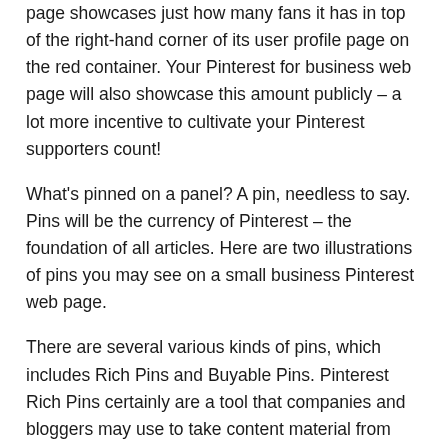page showcases just how many fans it has in top of the right-hand corner of its user profile page on the red container. Your Pinterest for business web page will also showcase this amount publicly – a lot more incentive to cultivate your Pinterest supporters count!
What's pinned on a panel? A pin, needless to say. Pins will be the currency of Pinterest – the foundation of all articles. Here are two illustrations of pins you may see on a small business Pinterest web page.
There are several various kinds of pins, which includes Rich Pins and Buyable Pins. Pinterest Rich Pins certainly are a tool that companies and bloggers may use to take content material from their sites and translate it right to a pin, that is reflected in its Pinterest picture description. Rich Pins can be found in four varieties: content pins, item pins, app pins and recipe pins.